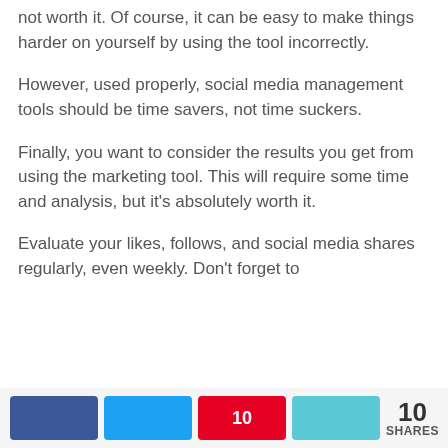not worth it. Of course, it can be easy to make things harder on yourself by using the tool incorrectly.
However, used properly, social media management tools should be time savers, not time suckers.
Finally, you want to consider the results you get from using the marketing tool. This will require some time and analysis, but it's absolutely worth it.
Evaluate your likes, follows, and social media shares regularly, even weekly. Don't forget to
10 SHARES